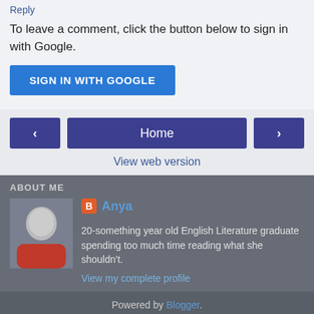Reply
To leave a comment, click the button below to sign in with Google.
SIGN IN WITH GOOGLE
[Figure (screenshot): Navigation bar with back arrow button, Home button, and forward arrow button]
View web version
ABOUT ME
[Figure (photo): Profile photo of Anya, a young woman with dark hair and glasses wearing a red top]
Anya
20-something year old English Literature graduate spending too much time reading what she shouldn't.
View my complete profile
Powered by Blogger.